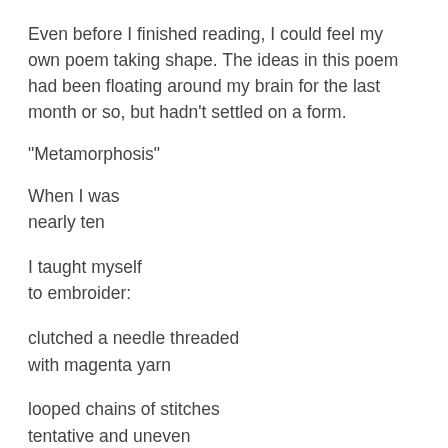Even before I finished reading, I could feel my own poem taking shape. The ideas in this poem had been floating around my brain for the last month or so, but hadn't settled on a form.
“Metamorphosis”
When I was
nearly ten
I taught myself
to embroider:
clutched a needle threaded
with magenta yarn
looped chains of stitches
tentative and uneven